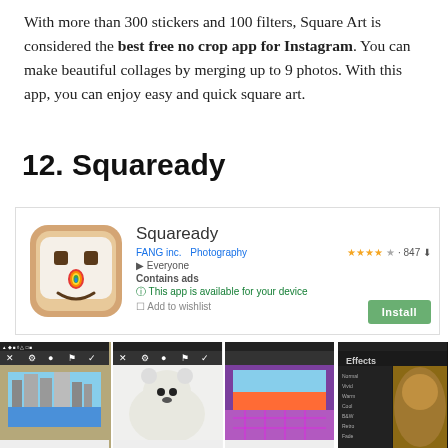With more than 300 stickers and 100 filters, Square Art is considered the best free no crop app for Instagram. You can make beautiful collages by merging up to 9 photos. With this app, you can enjoy easy and quick square art.
12. Squaready
[Figure (screenshot): Google Play Store listing for Squaready app by FANG Inc., Photography category, rated 4+ stars (847 ratings), Everyone rating, Contains ads, available for device, with Install button]
[Figure (screenshot): Four screenshots of the Squaready app showing: a city skyline photo on tan background, a white polar bear photo, a purple/pink sunset photo with grid overlay, and an Effects panel on dark background]